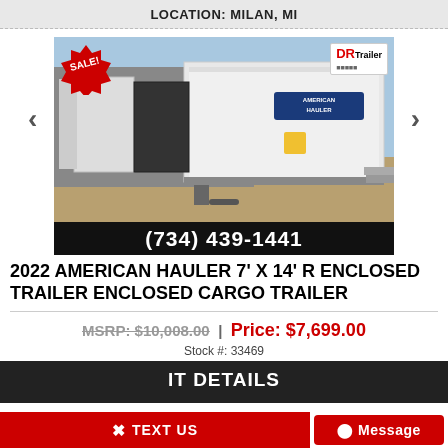LOCATION: MILAN, MI
[Figure (photo): Photo of a 2022 American Hauler 7x14 enclosed cargo trailer on a lot, with a SALE! badge in the upper left and DR Trailer logo in the upper right. Phone number (734) 439-1441 displayed on a black bar at the bottom of the image. Navigation arrows on left and right sides.]
2022 AMERICAN HAULER 7' X 14' R ENCLOSED TRAILER ENCLOSED CARGO TRAILER
MSRP: $10,008.00 | Price: $7,699.00
Stock #: 33469
IT DETAILS
TEXT US
Message